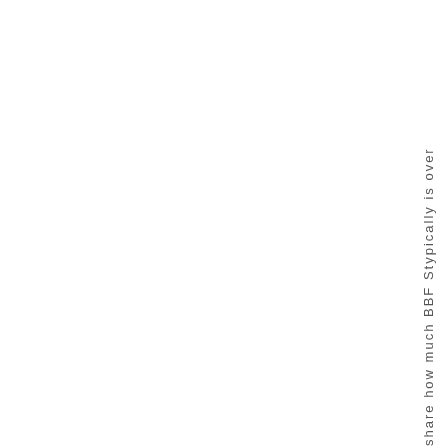share how much BBF Stypically is over